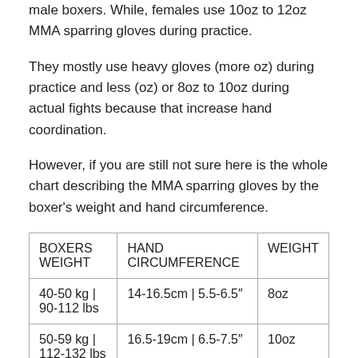male boxers. While, females use 10oz to 12oz MMA sparring gloves during practice.
They mostly use heavy gloves (more oz) during practice and less (oz) or 8oz to 10oz during actual fights because that increase hand coordination.
However, if you are still not sure here is the whole chart describing the MMA sparring gloves by the boxer's weight and hand circumference.
| BOXERS WEIGHT | HAND CIRCUMFERENCE | WEIGHT |
| --- | --- | --- |
| 40-50 kg | 90-112 lbs | 14-16.5cm | 5.5-6.5″ | 8oz |
| 50-59 kg | 112-132 lbs | 16.5-19cm | 6.5-7.5″ | 10oz |